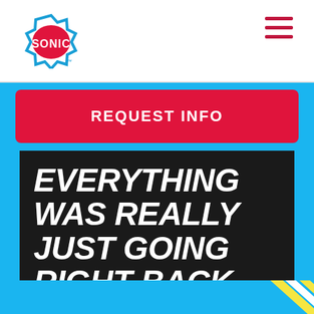[Figure (logo): Sonic Drive-In logo: blue star-burst outline with red SONIC text inside]
[Figure (other): Hamburger menu icon — three horizontal dark red bars]
REQUEST INFO
EVERYTHING WAS REALLY JUST GOING RIGHT BACK INTO THE BUSINESS."
TAILOR CAIN, MULTI-UNIT FRANCHISEE IN NEVADA